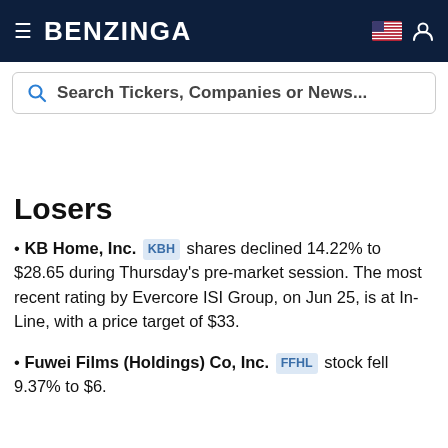BENZINGA
Search Tickers, Companies or News...
Losers
KB Home, Inc. KBH shares declined 14.22% to $28.65 during Thursday's pre-market session. The most recent rating by Evercore ISI Group, on Jun 25, is at In-Line, with a price target of $33.
Fuwei Films (Holdings) Co, Inc. FFHL stock fell 9.37% to $6.